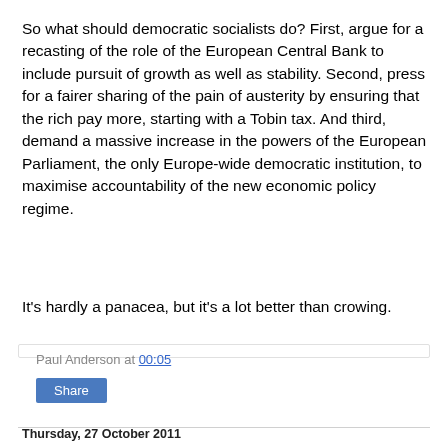So what should democratic socialists do? First, argue for a recasting of the role of the European Central Bank to include pursuit of growth as well as stability. Second, press for a fairer sharing of the pain of austerity by ensuring that the rich pay more, starting with a Tobin tax. And third, demand a massive increase in the powers of the European Parliament, the only Europe-wide democratic institution, to maximise accountability of the new economic policy regime.
It's hardly a panacea, but it's a lot better than crowing.
Paul Anderson at 00:05
Share
Thursday, 27 October 2011
BE CAREFUL WHAT YOU WISH FOR ON EUROPE